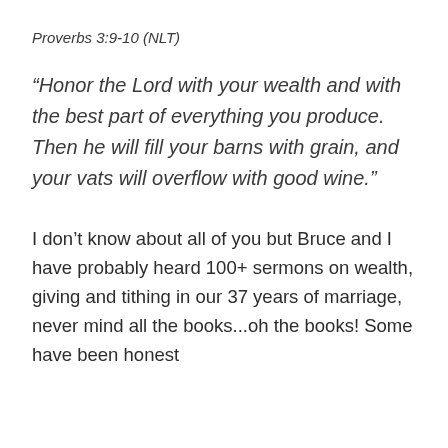Proverbs 3:9-10 (NLT)
“Honor the Lord with your wealth and with the best part of everything you produce. Then he will fill your barns with grain, and your vats will overflow with good wine.”
I don’t know about all of you but Bruce and I have probably heard 100+ sermons on wealth, giving and tithing in our 37 years of marriage, never mind all the books...oh the books! Some have been honest